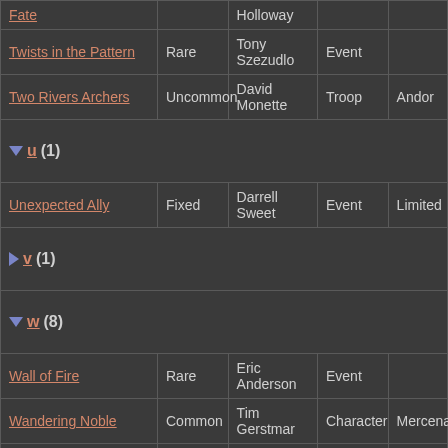| Name | Rarity | Artist | Type | Set |
| --- | --- | --- | --- | --- |
| Fate |  | Holloway |  |  |
| Twists in the Pattern | Rare | Tony Szezudlo | Event |  |
| Two Rivers Archers | Uncommon | David Monette | Troop | Andor |
| ▼ u (1) |  |  |  |  |
| Unexpected Ally | Fixed | Darrell Sweet | Event | Limited |
| ▶ v (1) |  |  |  |  |
| ▼ w (8) |  |  |  |  |
| Wall of Fire | Rare | Eric Anderson | Event |  |
| Wandering Noble | Common | Tim Gerstmar | Character | Mercena |
| Ward of Protection | Rare | Diana Stein | Event |  |